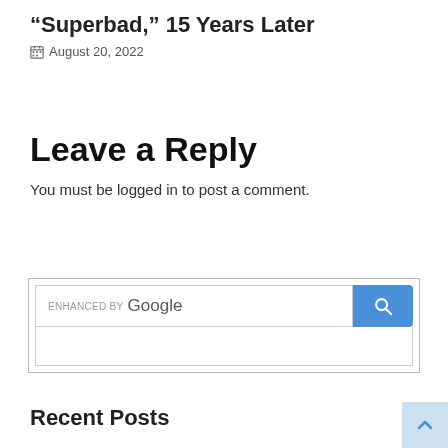“Superbad,” 15 Years Later
August 20, 2022
Leave a Reply
You must be logged in to post a comment.
[Figure (screenshot): Google enhanced search widget with search input box and blue search button with magnifying glass icon]
Recent Posts